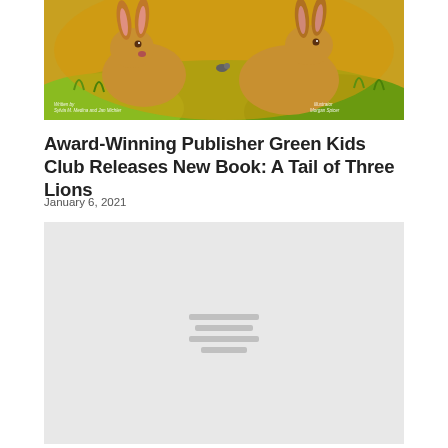[Figure (illustration): Book cover illustration showing cartoon rabbits/bunnies in a green and golden outdoor scene. Bottom of cover shows author credits: Written by Sylvia M. Medina and Jan Michler, Illustrator Morgan Spicer.]
Award-Winning Publisher Green Kids Club Releases New Book: A Tail of Three Lions
January 6, 2021
[Figure (other): Gray placeholder block representing an embedded media element (video or image loading placeholder) with four horizontal gray lines in the center indicating loading content.]